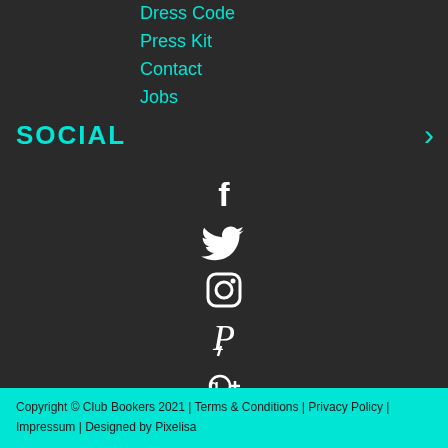Dress Code
Press Kit
Contact
Jobs
SOCIAL
[Figure (illustration): Social media icons: Facebook, Twitter, Instagram, Pinterest, Google+, Vimeo, YouTube]
Copyright © Club Bookers 2021 | Terms & Conditions | Privacy Policy | Impressum | Designed by Pixelisa